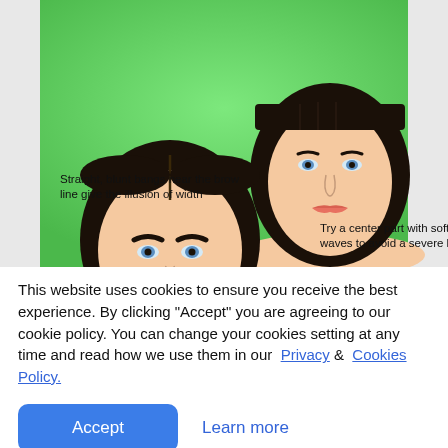[Figure (illustration): Green background illustration showing two stylized female faces/hairstyles. Top-right: woman with straight blunt bangs and dark bob hair. Text label reads 'Straight, blunt bangs near the brow line give the illusion of width'. Bottom-left: woman with center-parted dark wavy/straight hair. Text label reads 'Try a center part with soft waves to avoid a severe look'.]
This website uses cookies to ensure you receive the best experience. By clicking "Accept" you are agreeing to our cookie policy. You can change your cookies setting at any time and read how we use them in our Privacy & Cookies Policy.